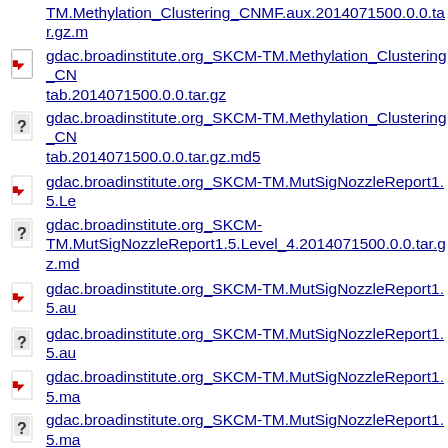TM.Methylation_Clustering_CNMF.aux.2014071500.0.0.tar.gz.m...
gdac.broadinstitute.org_SKCM-TM.Methylation_Clustering_CN...tab.2014071500.0.0.tar.gz
gdac.broadinstitute.org_SKCM-TM.Methylation_Clustering_CN...tab.2014071500.0.0.tar.gz.md5
gdac.broadinstitute.org_SKCM-TM.MutSigNozzleReport1.5.Le...
gdac.broadinstitute.org_SKCM-TM.MutSigNozzleReport1.5.Level_4.2014071500.0.0.tar.gz.md...
gdac.broadinstitute.org_SKCM-TM.MutSigNozzleReport1.5.au...
gdac.broadinstitute.org_SKCM-TM.MutSigNozzleReport1.5.au...
gdac.broadinstitute.org_SKCM-TM.MutSigNozzleReport1.5.ma...
gdac.broadinstitute.org_SKCM-TM.MutSigNozzleReport1.5.ma...tab.2014071500.0.0.tar.gz.md5
gdac.broadinstitute.org_SKCM-TM.MutSigNozzleReport2.0.Le...
gdac.broadinstitute.org_SKCM-TM.MutSigNozzleReport2.0.Level_4.2014071500.0.0.tar.gz.md...
gdac.broadinstitute.org_SKCM-TM.MutSigNozzleReport2.0.au...